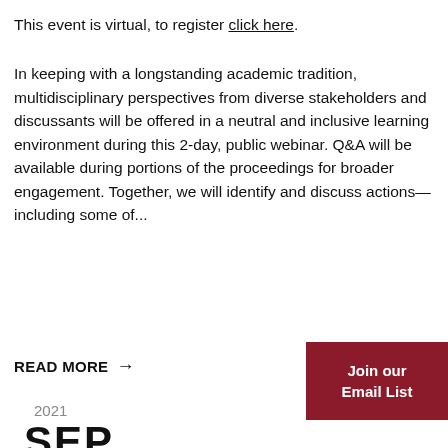This event is virtual, to register click here.
In keeping with a longstanding academic tradition, multidisciplinary perspectives from diverse stakeholders and discussants will be offered in a neutral and inclusive learning environment during this 2-day, public webinar. Q&A will be available during portions of the proceedings for broader engagement. Together, we will identify and discuss actions—including some of...
READ MORE →
Join our Email List
2021
SEP